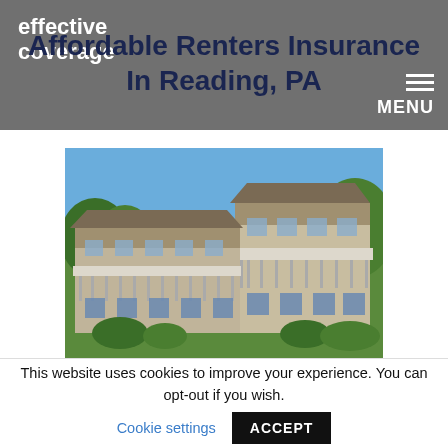effective coverage — Affordable Renters Insurance In Reading, PA — MENU
[Figure (photo): Exterior photo of Woodgate apartment complex in Reading, PA — two-story beige residential buildings with balconies, green lawn, and trees under a blue sky]
Woodgate Reading, PA Renters Insurance
Exclusive all-inclusive discounts with...
This website uses cookies to improve your experience. You can opt-out if you wish. Cookie settings ACCEPT